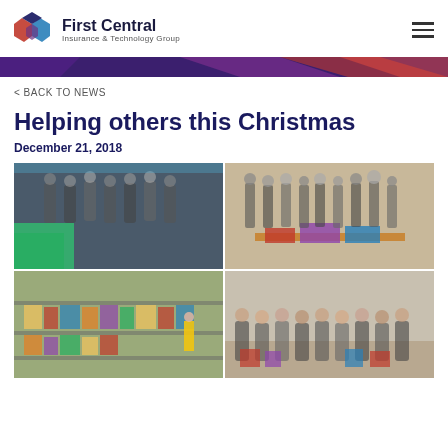[Figure (logo): First Central Insurance & Technology Group logo with hexagon icon]
< BACK TO NEWS
Helping others this Christmas
December 21, 2018
[Figure (photo): Four-photo collage: volunteers at food bank, staff with wrapped gifts, warehouse with food donations, group seated with Christmas items]